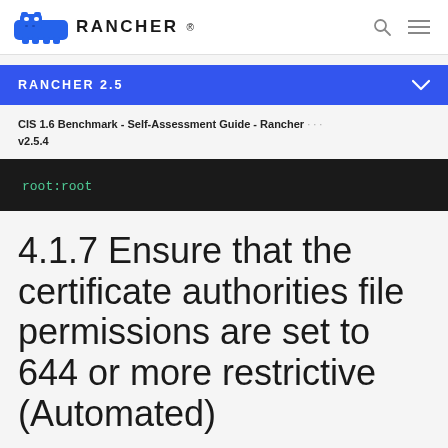RANCHER
RANCHER 2.5
CIS 1.6 Benchmark - Self-Assessment Guide - Rancher v2.5.4
root:root
4.1.7 Ensure that the certificate authorities file permissions are set to 644 or more restrictive (Automated)